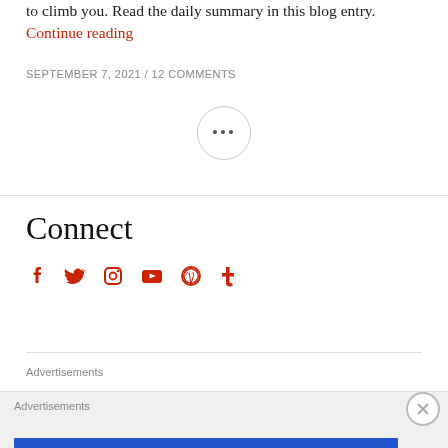to climb you. Read the daily summary in this blog entry. Continue reading
SEPTEMBER 7, 2021 / 12 COMMENTS
[Figure (other): Ellipsis button (three dots) inside a circle, acting as a pagination or more-options control]
Connect
[Figure (other): Row of six social media icons in red: Facebook, Twitter, Instagram, YouTube, WordPress, Tumblr]
Advertisements
Advertisements